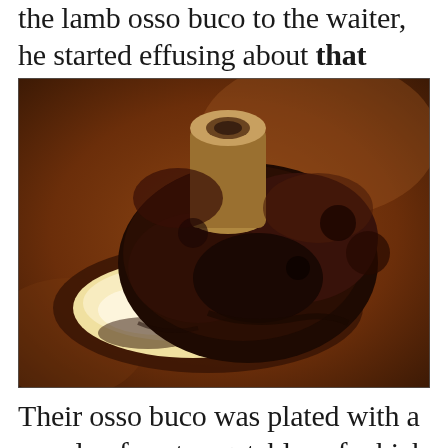the lamb osso buco to the waiter, he started effusing about that choice.
[Figure (photo): A plated lamb osso buco dish served on top of creamy mashed root vegetables, with a rich dark braising sauce pooled around it. The bone is visible standing upright in the center of the meat.]
Their osso buco was plated with a couple of root vegetables of which I'm not fond, and where I had the